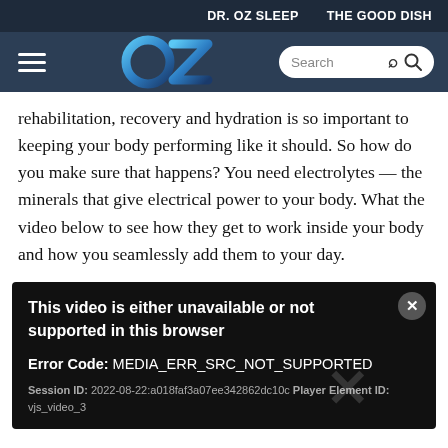DR. OZ SLEEP    THE GOOD DISH
[Figure (logo): OZ logo in blue gradient on dark navy navigation bar with hamburger menu and search box]
rehabilitation, recovery and hydration is so important to keeping your body performing like it should. So how do you make sure that happens? You need electrolytes — the minerals that give electrical power to your body. What the video below to see how they get to work inside your body and how you seamlessly add them to your day.
[Figure (screenshot): Video player error message on black background. Title: 'This video is either unavailable or not supported in this browser'. Error Code: MEDIA_ERR_SRC_NOT_SUPPORTED. Session ID: 2022-08-22:a018faf3a07ee342862dc10c Player Element ID: vjs_video_3]